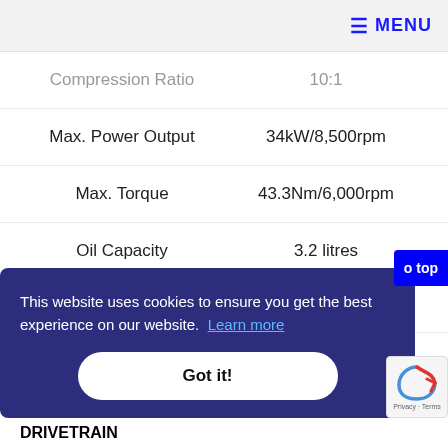≡ MENU
| Specification | Value |
| --- | --- |
| Compression Ratio | 10:1 |
| Max. Power Output | 34kW/8,500rpm |
| Max. Torque | 43.3Nm/6,000rpm |
| Oil Capacity | 3.2 litres |
| FUEL SYSTEM |  |
| Carburation | PGM-FI |
| Fuel Tank Capacity | 11.2L |
| Fuel consumption | 27km/litre |
This website uses cookies to ensure you get the best experience on our website. Learn more
Got it!
DRIVETRAIN